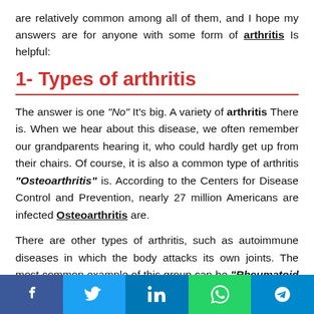are relatively common among all of them, and I hope my answers are for anyone with some form of arthritis Is helpful:
1- Types of arthritis
The answer is one "No" It's big. A variety of arthritis There is. When we hear about this disease, we often remember our grandparents hearing it, who could hardly get up from their chairs. Of course, it is also a common type of arthritis "Osteoarthritis" is. According to the Centers for Disease Control and Prevention, nearly 27 million Americans are infected Osteoarthritis are.
There are other types of arthritis, such as autoimmune diseases in which the body attacks its own joints. The most common example of this group can be "Rheumatoid Arthritis"
Social share buttons: Facebook, Twitter, LinkedIn, WhatsApp, Telegram